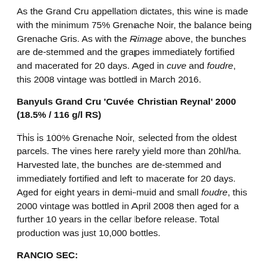As the Grand Cru appellation dictates, this wine is made with the minimum 75% Grenache Noir, the balance being Grenache Gris. As with the Rimage above, the bunches are de-stemmed and the grapes immediately fortified and macerated for 20 days. Aged in cuve and foudre, this 2008 vintage was bottled in March 2016.
Banyuls Grand Cru 'Cuvée Christian Reynal' 2000 (18.5% / 116 g/l RS)
This is 100% Grenache Noir, selected from the oldest parcels. The vines here rarely yield more than 20hl/ha. Harvested late, the bunches are de-stemmed and immediately fortified and left to macerate for 20 days. Aged for eight years in demi-muid and small foudre, this 2000 vintage was bottled in April 2008 then aged for a further 10 years in the cellar before release. Total production was just 10,000 bottles.
RANCIO SEC:
'Motif' Winery, Roussillon, SA: Amontillado (1994)